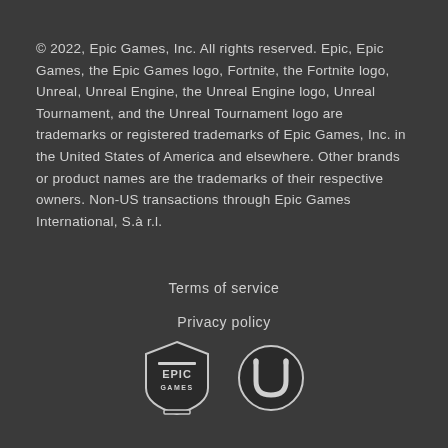© 2022, Epic Games, Inc. All rights reserved. Epic, Epic Games, the Epic Games logo, Fortnite, the Fortnite logo, Unreal, Unreal Engine, the Unreal Engine logo, Unreal Tournament, and the Unreal Tournament logo are trademarks or registered trademarks of Epic Games, Inc. in the United States of America and elsewhere. Other brands or product names are the trademarks of their respective owners. Non-US transactions through Epic Games International, S.à r.l.
Terms of service
Privacy policy
[Figure (logo): Epic Games shield logo and Unreal Engine circular U logo side by side]